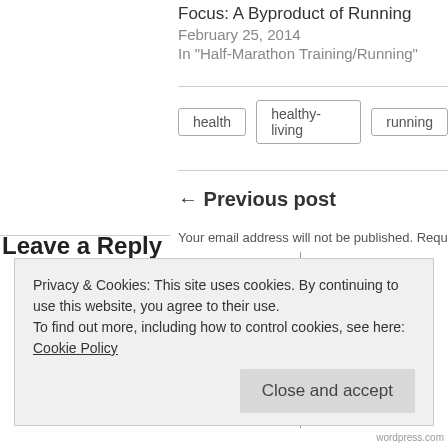Focus: A Byproduct of Running
February 25, 2014
In "Half-Marathon Training/Running"
health
healthy-living
running
← Previous post
Leave a Reply
Your email address will not be published. Required fields are mar
Privacy & Cookies: This site uses cookies. By continuing to use this website, you agree to their use.
To find out more, including how to control cookies, see here: Cookie Policy
Close and accept